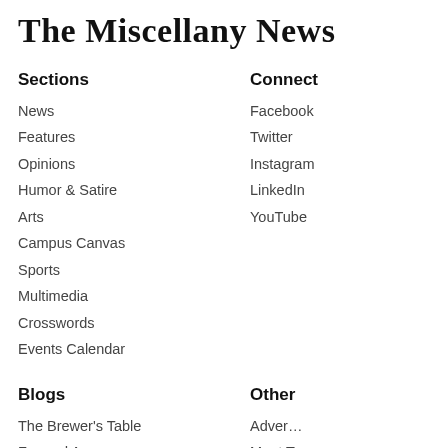The Miscellany News
Sections
News
Features
Opinions
Humor & Satire
Arts
Campus Canvas
Sports
Multimedia
Crosswords
Events Calendar
Connect
Facebook
Twitter
Instagram
LinkedIn
YouTube
Blogs
The Brewer's Table
Far and Away
Other
Adver…
Meet T…
Print A…
Join the Staff…